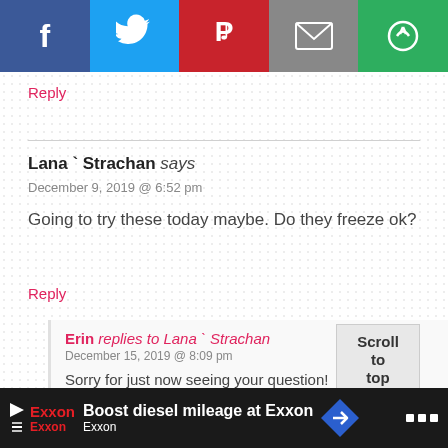[Figure (screenshot): Social share bar with Facebook (dark blue), Twitter (light blue), Pinterest (red), Email (grey), and a green share icon button.]
Reply
Lana ` Strachan says
December 9, 2019 @ 6:52 pm
Going to try these today maybe. Do they freeze ok?
Reply
Erin replies to Lana ` Strachan
December 15, 2019 @ 8:09 pm
Sorry for just now seeing your question!
Scroll to top
[Figure (screenshot): Advertisement banner: Boost diesel mileage at Exxon, with Exxon logo and navigation arrow icon.]